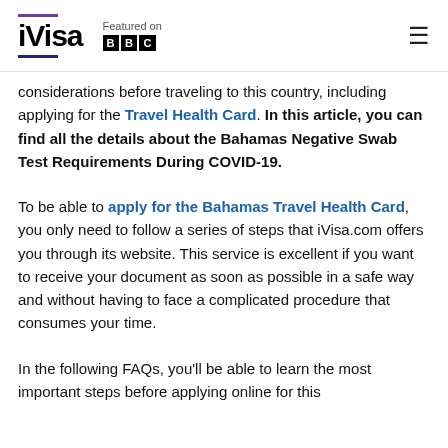iVisa — Featured on BBC
considerations before traveling to this country, including applying for the Travel Health Card. In this article, you can find all the details about the Bahamas Negative Swab Test Requirements During COVID-19.
To be able to apply for the Bahamas Travel Health Card, you only need to follow a series of steps that iVisa.com offers you through its website. This service is excellent if you want to receive your document as soon as possible in a safe way and without having to face a complicated procedure that consumes your time.
In the following FAQs, you'll be able to learn the most important steps before applying online for this